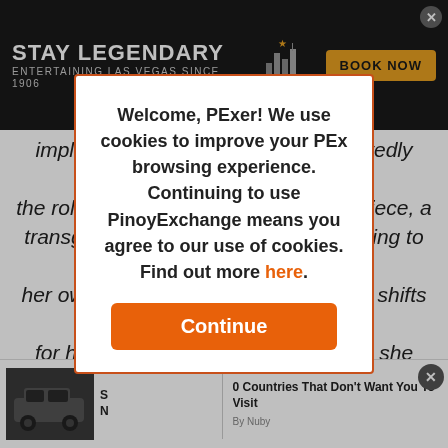[Figure (screenshot): Advertisement banner for Golden Gate Hotel and Casino Las Vegas. Text: STAY LEGENDARY, ENTERTAINING LAS VEGAS SINCE 1906. Includes hotel logo and BOOK NOW button.]
implants for her profession unexpectedly assumes the role of a mother to her orphaned niece, a transgender youth who is only beginning to discover her own sexuality. As she works more shifts to save for her implants, troubles arise when she begins to feel the weight of her struggles - being an aging sex worker [obscured] to her young fi[obscured] she just met. Her d[obscured] lly lead her to a new a[obscured] e recipe to a[obscured]g
Welcome, PExer! We use cookies to improve your PEx browsing experience. Continuing to use PinoyExchange means you agree to our use of cookies. Find out more here. Continue
[Figure (photo): Thumbnail image of a black SUV vehicle]
S... N...
0 Countries That Don't Want You To Visit
By Nuby